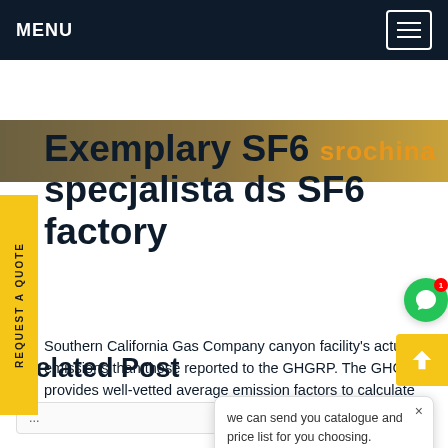MENU
[Figure (photo): Hero banner image strip with brand text 'srochina' on a warm landscape background]
Exemplary SF6 specjalista ds SF6 factory
Southern California Gas Company canyon facility's actual 2015 emissions than those reported to the GHGRP. The GHGRP provides well-vetted average emission factors to calculate emissions.Get price
[Figure (screenshot): Chat popup widget showing message: 'we can send you catalogue and price list for you choosing. Leave us your email or whatsapp.' with SF6 Expert label and 'just now' timestamp, Write a prompt with like and attach icons, and green chat bubble FAB button with badge count 1]
Related Post
...